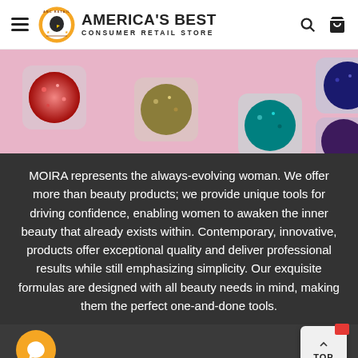America's Best Consumer Retail Store
[Figure (photo): Overhead view of multiple glitter eyeshadow pots in red, gold/olive, teal, dark blue, and dark purple colors on a pink background]
MOIRA represents the always-evolving woman. We offer more than beauty products; we provide unique tools for driving confidence, enabling women to awaken the inner beauty that already exists within. Contemporary, innovative, products offer exceptional quality and deliver professional results while still emphasizing simplicity. Our exquisite formulas are designed with all beauty needs in mind, making them the perfect one-and-done tools.